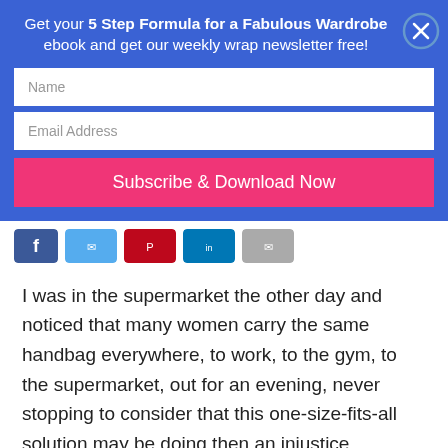Get your 5 Step Formula for a Fabulous Wardrobe ebook and get our weekly wrap newsletter free!
[Figure (screenshot): Newsletter signup form with Name field, Email Address field, and Subscribe & Download Now button on blue background with close button]
[Figure (infographic): Social sharing icons: Facebook (blue), Twitter (light blue), Pinterest (red), LinkedIn (dark blue), Email (grey)]
I was in the supermarket the other day and noticed that many women carry the same handbag everywhere, to work, to the gym, to the supermarket, out for an evening, never stopping to consider that this one-size-fits-all solution may be doing then an injustice.
So is it time you thought about your handbag, and whether or not you may need more than one to create that overall stylish look you are trying to